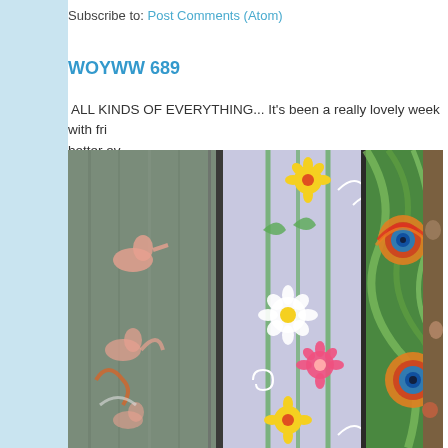Subscribe to: Post Comments (Atom)
WOYWW 689
ALL KINDS OF EVERYTHING... It's been a really lovely week with fri better ev...
[Figure (photo): Rolled fabric bolts showing various patterned fabrics including cat prints on grey, floral prints on lavender, peacock feather prints, and a brown floral fabric, stacked side by side.]